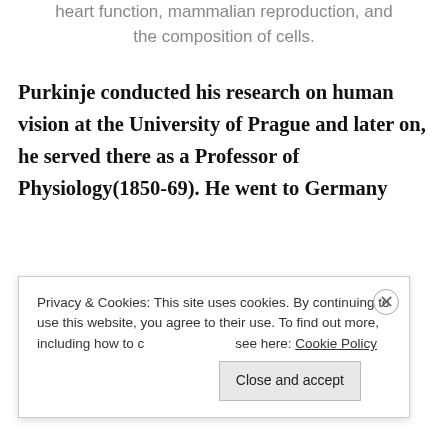heart function, mammalian reproduction, and the composition of cells.
Purkinje conducted his research on human vision at the University of Prague and later on, he served there as a Professor of Physiology(1850-69). He went to Germany
Privacy & Cookies: This site uses cookies. By continuing to use this website, you agree to their use. To find out more, including how to control cookies, see here: Cookie Policy